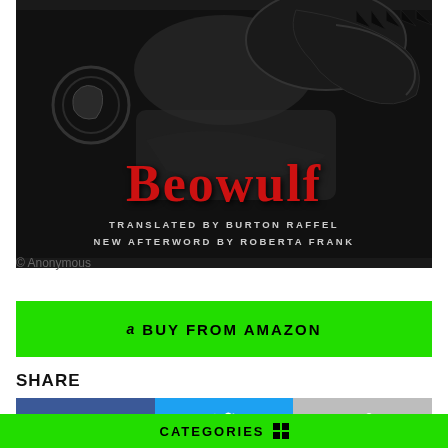[Figure (illustration): Book cover of Beowulf translated by Burton Raffel, new afterword by Roberta Frank. Dark background with decorative elements, title in red gothic font, subtitle in white caps.]
© Anonymous
BUY FROM AMAZON
SHARE
[Figure (other): Social share buttons: Facebook (blue), Twitter (light blue), and a share icon (grey)]
CATEGORIES